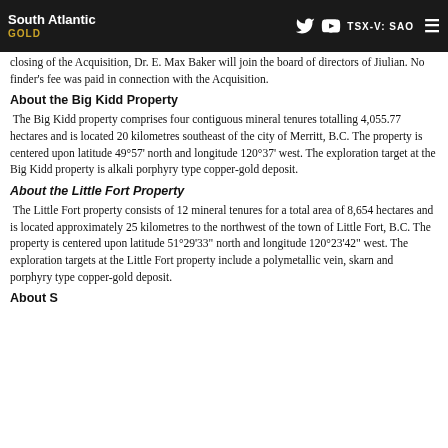South Atlantic GOLD | TSX-V: SAO
closing of the Acquisition, Dr. E. Max Baker will join the board of directors of Jiulian. No finder's fee was paid in connection with the Acquisition.
About the Big Kidd Property
The Big Kidd property comprises four contiguous mineral tenures totalling 4,055.77 hectares and is located 20 kilometres southeast of the city of Merritt, B.C. The property is centered upon latitude 49°57' north and longitude 120°37' west. The exploration target at the Big Kidd property is alkali porphyry type copper-gold deposit.
About the Little Fort Property
The Little Fort property consists of 12 mineral tenures for a total area of 8,654 hectares and is located approximately 25 kilometres to the northwest of the town of Little Fort, B.C. The property is centered upon latitude 51°29'33" north and longitude 120°23'42" west. The exploration targets at the Little Fort property include a polymetallic vein, skarn and porphyry type copper-gold deposit.
About Sourceint Exploration Ltd...